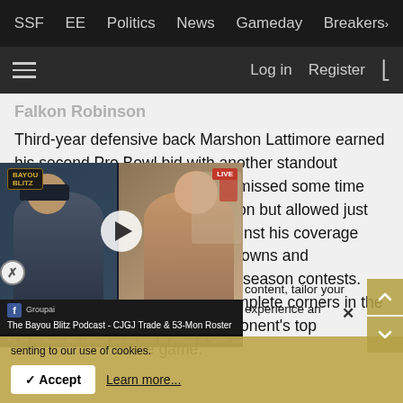SSF   EE   Politics   News   Gameday   Breakers>
≡   Log in   Register   ⚡
Falkon Robinson
Third-year defensive back Marshon Lattimore earned his second Pro Bowl bid with another standout performance in 2019. Lattimore missed some time with a hamstring injury this season but allowed just 50% completion percentage against his coverage while surrendering only 3 touchdowns and intercepting a pass in 14 regular season contests. The 23-Yr old [most] complete corners in the [ta]king on to the opponent's top [pick] of the game.
[Figure (screenshot): Video widget for The Bayou Blitz Podcast - CJGJ Trade & 53-Man Roster, showing two people in a video chat, with play button overlay, Facebook and Groupai branding, and ticker text.]
content, tailor your experience and   senting to our use of cookies.
✓ Accept    Learn more...